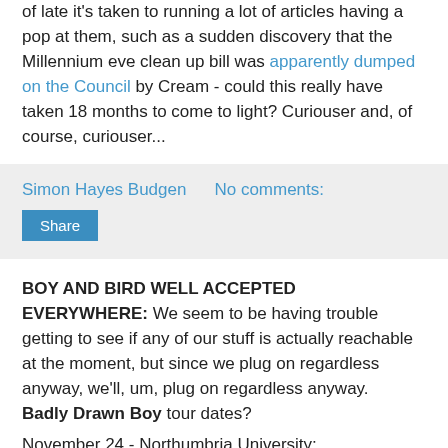of late it's taken to running a lot of articles having a pop at them, such as a sudden discovery that the Millennium eve clean up bill was apparently dumped on the Council by Cream - could this really have taken 18 months to come to light? Curiouser and, of course, curiouser...
Simon Hayes Budgen   No comments:
Share
BOY AND BIRD WELL ACCEPTED EVERYWHERE: We seem to be having trouble getting to see if any of our stuff is actually reachable at the moment, but since we plug on regardless anyway, we'll, um, plug on regardless anyway. Badly Drawn Boy tour dates?
November 24 - Northumbria University;
25 - Leeds University;
27 - Sheffield Octagon;